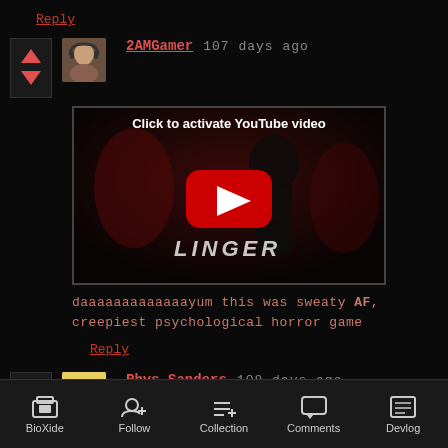Reply
2AMGamer  107 days ago
[Figure (screenshot): YouTube video embed showing a horror game called LINGER with a dark figure and red lighting. Text reads 'Click to activate YouTube video']
daaaaaaaaaaaaayum this was sweaty AF, creepiest psychological horror game
Reply
Rhys_Sanders  108 days ago
BioXide  Follow  Collection  Comments  Devlog